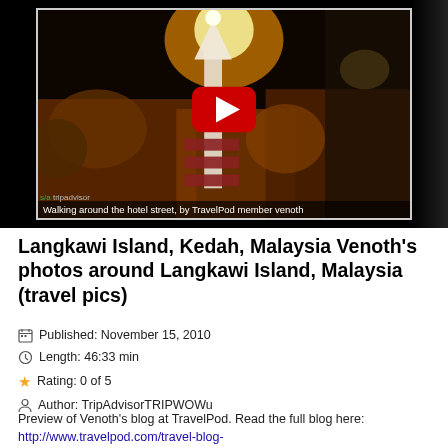[Figure (screenshot): Video thumbnail showing a nighttime street scene with illuminated sign, from TripAdvisor/TravelPod. Caption reads: 'Walking around the hotel street, by TravelPod member venoth'. Red YouTube-style play button in center.]
Langkawi Island, Kedah, Malaysia Venoth's photos around Langkawi Island, Malaysia (travel pics)
Published: November 15, 2010
Length: 46:33 min
Rating: 0 of 5
Author: TripAdvisorTRIPWOWu
Preview of Venoth's blog at TravelPod. Read the full blog here: http://www.travelpod.com/travel-blog-entries/venoth/14/1263364815/tpod.html This blog was brought to you by TravelPod member...